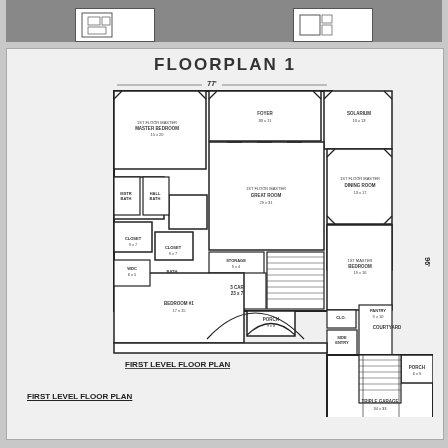FLOORPLAN 1
[Figure (engineering-diagram): First level floor plan of a large house showing rooms: Master Bedroom 15x20, Foyer 30x11, Solarium 10x13, Great Room 29x31, Dining Room 13x17, Bedroom #1 17x15, Courtyard, Porch 9x8, Triple Garage 34x33, Porch 6x9, Storage 9x4, Stair areas, Closets 9x7, Laundry, utility spaces, and various bathroom areas. Overall dimensions 77' wide x 96' deep.]
FIRST LEVEL FLOOR PLAN